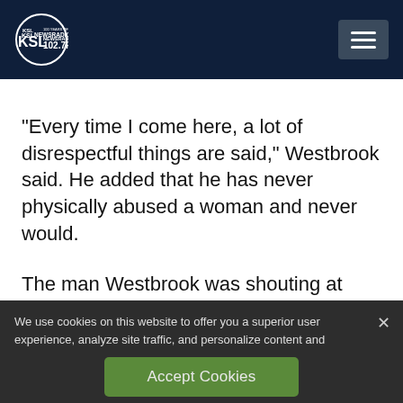KSL NewsRadio 102.7FM
“Every time I come here, a lot of disrespectful things are said,” Westbrook said. He added that he has never physically abused a woman and never would.

The man Westbrook was shouting at during
We use cookies on this website to offer you a superior user experience, analyze site traffic, and personalize content and advertisements. By continuing to use our site, you consent to our use of cookies. Please visit our Privacy Policy for more information.
Accept Cookies